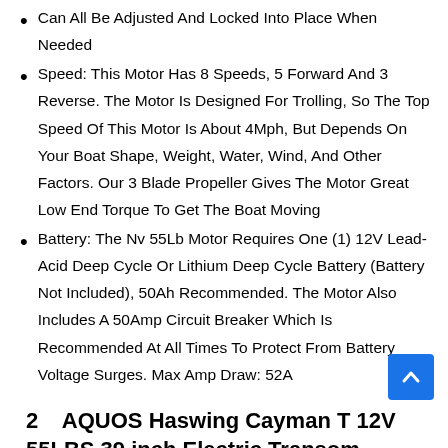Can All Be Adjusted And Locked Into Place When Needed
Speed: This Motor Has 8 Speeds, 5 Forward And 3 Reverse. The Motor Is Designed For Trolling, So The Top Speed Of This Motor Is About 4Mph, But Depends On Your Boat Shape, Weight, Water, Wind, And Other Factors. Our 3 Blade Propeller Gives The Motor Great Low End Torque To Get The Boat Moving
Battery: The Nv 55Lb Motor Requires One (1) 12V Lead-Acid Deep Cycle Or Lithium Deep Cycle Battery (Battery Not Included), 50Ah Recommended. The Motor Also Includes A 50Amp Circuit Breaker Which Is Recommended At All Times To Protect From Battery Voltage Surges. Max Amp Draw: 52A
2   AQUOS Haswing Cayman T 12V 55LBS 39 inch Electric Transom Trolling Motor with Remote Control and Wired Foot Control for Fishing Boat Bass Boat